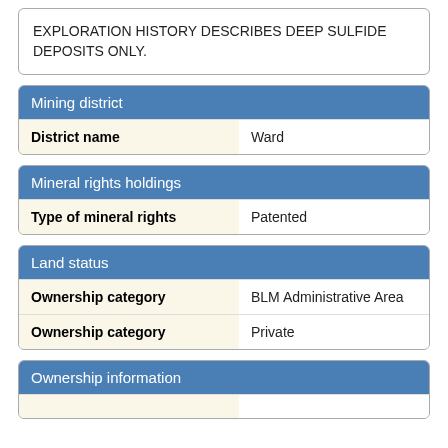EXPLORATION HISTORY DESCRIBES DEEP SULFIDE DEPOSITS ONLY.
Mining district
| Field | Value |
| --- | --- |
| District name | Ward |
Mineral rights holdings
| Field | Value |
| --- | --- |
| Type of mineral rights | Patented |
Land status
| Field | Value |
| --- | --- |
| Ownership category | BLM Administrative Area |
| Ownership category | Private |
Ownership information